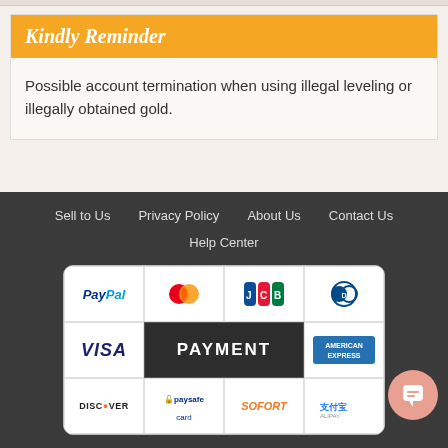Kindly Reminder
Possible account termination when using illegal leveling or illegally obtained gold.
Sell to Us  Privacy Policy  About Us  Contact Us  Help Center
[Figure (infographic): Payment methods grid showing PayPal, Mastercard, JCB, Diners Club, Visa, PAYMENT label, American Express, Discover, Paysafe Card, SOFORT, Alipay]
Maplestory Mesos  Buy Maplestory Mesos